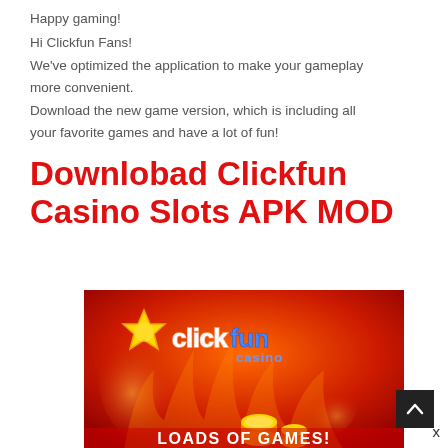Happy gaming!
Hi Clickfun Fans!
We've optimized the application to make your gameplay more convenient.
Download the new game version, which is including all your favorite games and have a lot of fun!
Downlobad Clickfun Casino Slots APK MOD
[Figure (photo): Clickfun Casino logo on a red fiery background with 'LOADS OF GAMES!' text at the bottom, gold coins, and a yellow star.]